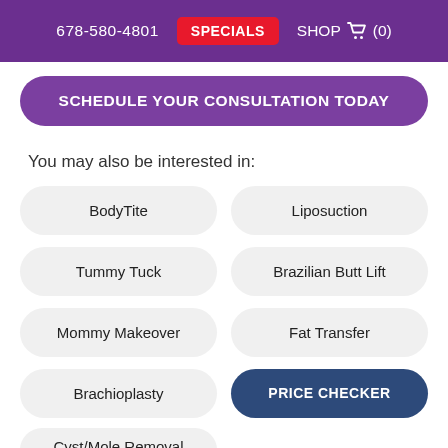678-580-4801  SPECIALS  SHOP  (0)
SCHEDULE YOUR CONSULTATION TODAY
You may also be interested in:
BodyTite
Liposuction
Tummy Tuck
Brazilian Butt Lift
Mommy Makeover
Fat Transfer
Brachioplasty
PRICE CHECKER
Cyst/Mole Removal